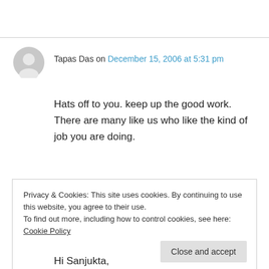Tapas Das on December 15, 2006 at 5:31 pm
Hats off to you. keep up the good work. There are many like us who like the kind of job you are doing.
★ Like
👍 2 👎 7 ℹ Rate This
Privacy & Cookies: This site uses cookies. By continuing to use this website, you agree to their use. To find out more, including how to control cookies, see here: Cookie Policy
Close and accept
Hi Sanjukta,